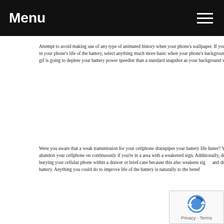Menu
Attempt to avoid making use of any type of animated history when your phone's wallpaper. If you're interested in your phone's life of the battery, select anything much more basic when your phone's background. Any type of gif is going to deplete your battery power speedier than a standard snapshot as your background would.
Were you aware that a weak transmission for your cellphone drainpipes your battery life faster? You should not abandon your cellphone on continuously if you're in a area with a weakened sign. Additionally, don't exercise burying your cellular phone within a drawer or brief-case because this also weakens sig and drain pipes battery. Anything you could do to improve life of the battery is naturally to the benef